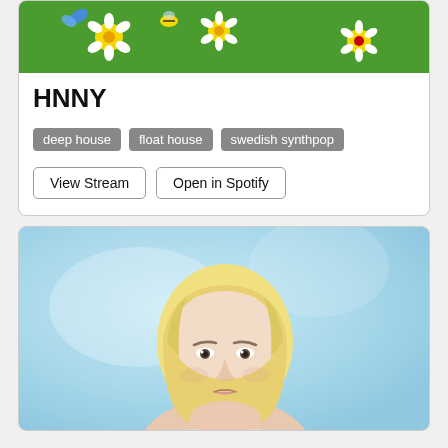[Figure (illustration): Colorful painted album art with flowers (daisies, sunflowers) on a green background, partially cropped at top of card]
HNNY
deep house
float house
swedish synthpop
View Stream | Open in Spotify
[Figure (photo): Portrait photo of a blonde woman with short hair against a light blue background, looking upward]